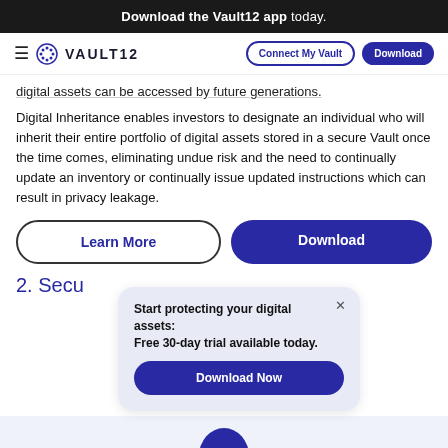Download the Vault12 app today.
VAULT12 | Connect My Vault | Download
digital assets can be accessed by future generations.
Digital Inheritance enables investors to designate an individual who will inherit their entire portfolio of digital assets stored in a secure Vault once the time comes, eliminating undue risk and the need to continually update an inventory or continually issue updated instructions which can result in privacy leakage.
Learn More | Download
Start protecting your digital assets: Free 30-day trial available today.
Download Now
2. Secu